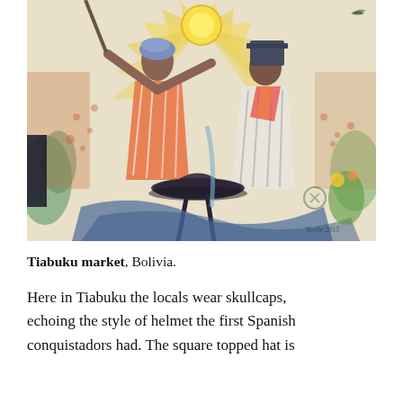[Figure (illustration): A colorful folk-art style painting depicting figures at Tiabuku market in Bolivia. The scene shows people in traditional clothing with bright oranges, yellows, blues, and greens. Central figures wear robes and hats; a dark hat is prominent in the foreground. A radiant sun with yellow rays fills the upper background. Lush, patterned vegetation and abstract forms surround the figures.]
Tiabuku market, Bolivia.
Here in Tiabuku the locals wear skullcaps, echoing the style of helmet the first Spanish conquistadors had. The square topped hat is